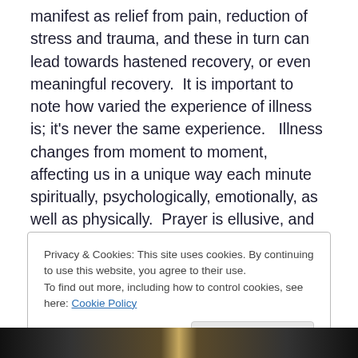manifest as relief from pain, reduction of stress and trauma, and these in turn can lead towards hastened recovery, or even meaningful recovery.  It is important to note how varied the experience of illness is; it's never the same experience.   Illness changes from moment to moment, affecting us in a unique way each minute spiritually, psychologically, emotionally, as well as physically.  Prayer is ellusive, and so is the experience of illness.
Privacy & Cookies: This site uses cookies. By continuing to use this website, you agree to their use.
To find out more, including how to control cookies, see here: Cookie Policy
[Figure (photo): Partial view of a photo showing a person, partially cropped at the bottom of the page]